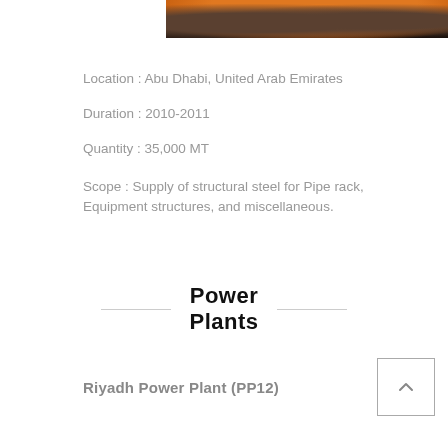[Figure (photo): Industrial tanks or silos photographed at dusk/night with orange and dark tones]
Location : Abu Dhabi, United Arab Emirates
Duration : 2010-2011
Quantity : 35,000 MT
Scope : Supply of structural steel for Pipe rack, Equipment structures, and miscellaneous.
Power Plants
Riyadh Power Plant (PP12)
[Figure (photo): Power plant tower photographed at night with blue sky and lights]